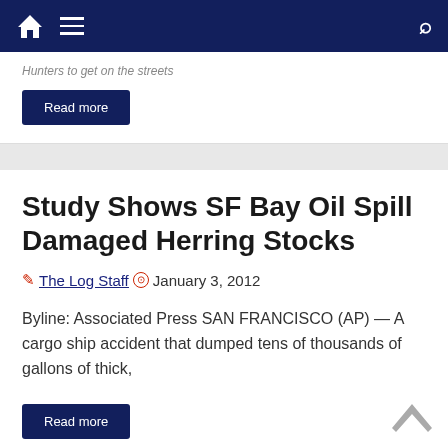Navigation bar with home, menu, and search icons
Hunters to get on the streets
Read more
Study Shows SF Bay Oil Spill Damaged Herring Stocks
The Log Staff  January 3, 2012
Byline: Associated Press SAN FRANCISCO (AP) — A cargo ship accident that dumped tens of thousands of gallons of thick,
Read more